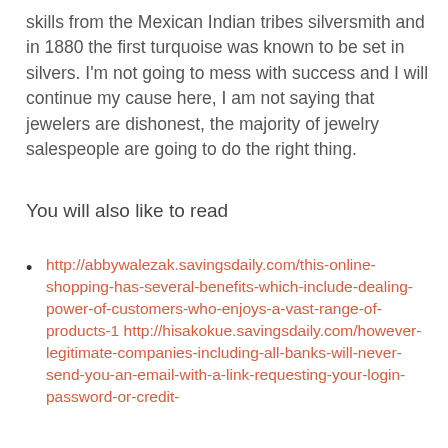skills from the Mexican Indian tribes silversmith and in 1880 the first turquoise was known to be set in silvers. I'm not going to mess with success and I will continue my cause here, I am not saying that jewelers are dishonest, the majority of jewelry salespeople are going to do the right thing.
You will also like to read
http://abbywalezak.savingsdaily.com/this-online-shopping-has-several-benefits-which-include-dealing-power-of-customers-who-enjoys-a-vast-range-of-products-1 http://hisakokue.savingsdaily.com/however-legitimate-companies-including-all-banks-will-never-send-you-an-email-with-a-link-requesting-your-login-password-or-credit-